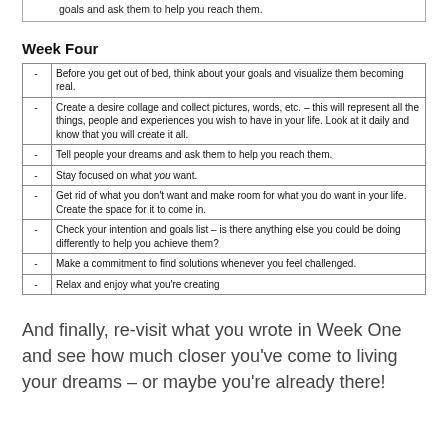goals and ask them to help you reach them.
Week Four
| Before you get out of bed, think about your goals and visualize them becoming real. |
| Create a desire collage and collect pictures, words, etc. – this will represent all the things, people and experiences you wish to have in your life. Look at it daily and know that you will create it all. |
| Tell people your dreams and ask them to help you reach them. |
| Stay focused on what you want. |
| Get rid of what you don't want and make room for what you do want in your life. Create the space for it to come in. |
| Check your intention and goals list – is there anything else you could be doing differently to help you achieve them? |
| Make a commitment to find solutions whenever you feel challenged. |
| Relax and enjoy what you're creating |
And finally, re-visit what you wrote in Week One and see how much closer you've come to living your dreams – or maybe you're already there!